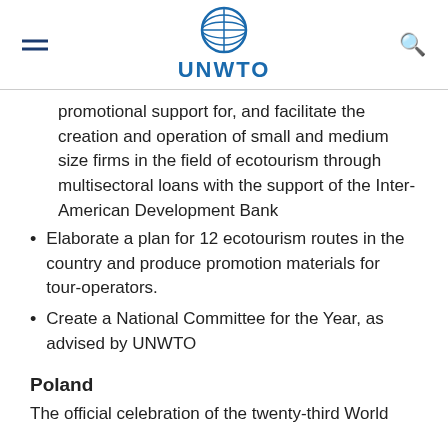UNWTO
promotional support for, and facilitate the creation and operation of small and medium size firms in the field of ecotourism through multisectoral loans with the support of the Inter-American Development Bank
Elaborate a plan for 12 ecotourism routes in the country and produce promotion materials for tour-operators.
Create a National Committee for the Year, as advised by UNWTO
Poland
The official celebration of the twenty-third World